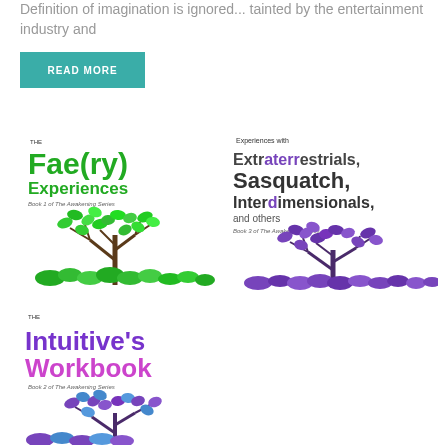Definition of imagination is ignored... tainted by the entertainment industry and
READ MORE
[Figure (illustration): Book cover: The Fae(ry) Experiences, Book 1 of The Awakening Series, with green tree/leaf illustration]
[Figure (illustration): Book cover: Experiences with Extraterrestrials, Sasquatch, Interdimensionals, and others, Book 3 of The Awakening Series, with purple tree/leaf illustration]
[Figure (illustration): Book cover: The Intuitive's Workbook, Book 2 of The Awakening Series, with purple/blue tree illustration]